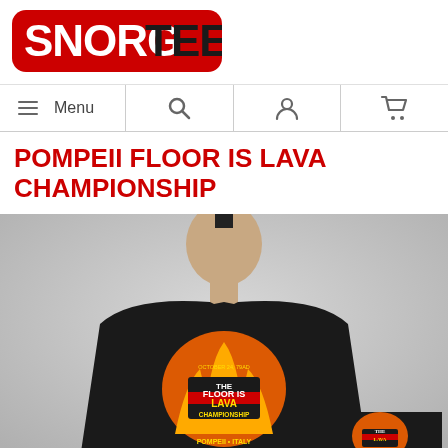[Figure (logo): SnorgTees logo — white text on red rounded rectangle background, reading SNORG TEES]
[Figure (infographic): Navigation bar with hamburger Menu icon, search icon, user/account icon, and shopping cart icon]
POMPEII FLOOR IS LAVA CHAMPIONSHIP
[Figure (photo): Man wearing a black t-shirt with 'The Floor Is Lava Championship — Pompeii Italy — October 24, 79AD' graphic design in red, yellow, and gold. A smaller thumbnail of the same shirt is visible in the bottom right corner.]